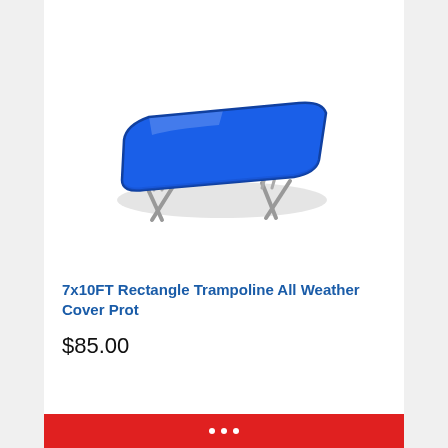[Figure (illustration): A rectangular trampoline with a blue cover/mat on top and silver/grey metal legs, viewed from a slight angle perspective. The trampoline casts a shadow beneath it.]
7x10FT Rectangle Trampoline All Weather Cover Prot
$85.00